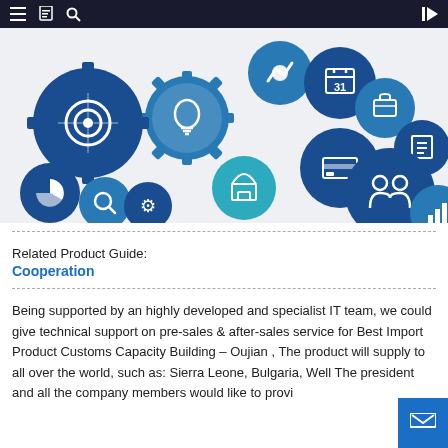≡ [book] [search] ←
[Figure (illustration): Business gears infographic with icons including target, lightbulb, calendar, briefcase, chart, store, credit card, people, pie chart, search, and other business-related icons in blue and dark navy colors on light gray background.]
Related Product Guide:
Cooperation
Being supported by an highly developed and specialist IT team, we could give technical support on pre-sales & after-sales service for Best Import Product Customs Capacity Building – Oujian , The product will supply to all over the world, such as: Sierra Leone, Bulgaria, Well The president and all the company members would like to provi